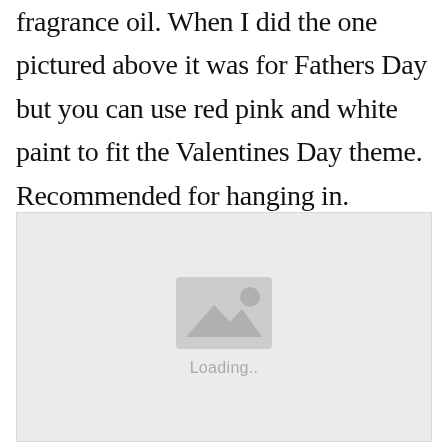fragrance oil. When I did the one pictured above it was for Fathers Day but you can use red pink and white paint to fit the Valentines Day theme. Recommended for hanging in.
[Figure (photo): Image loading placeholder with a grey background, a mountain/photo icon, and 'Loading..' text below it]